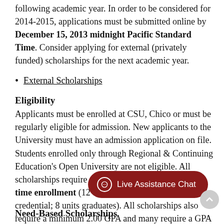following academic year. In order to be considered for 2014-2015, applications must be submitted online by December 15, 2013 midnight Pacific Standard Time. Consider applying for external (privately funded) scholarships for the next academic year.
External Scholarships
Eligibility
Applicants must be enrolled at CSU, Chico or must be regularly eligible for admission. New applicants to the University must have an admission application on file. Students enrolled only through Regional & Continuing Education's Open University are not eligible. All scholarships require that the recipients maintain full-time enrollment (12 units undergraduates and credential; 8 units graduates). All scholarships also require a minimum 2.00 GPA and many require a GPA
Need-Based Scholarships